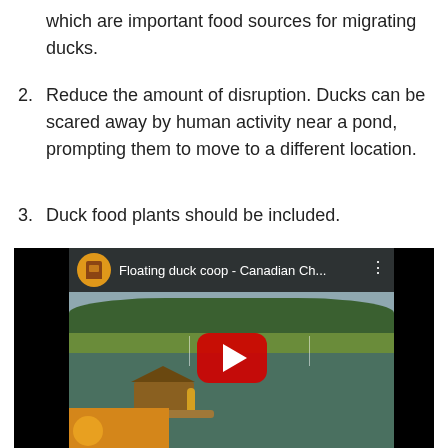which are important food sources for migrating ducks.
2. Reduce the amount of disruption. Ducks can be scared away by human activity near a pond, prompting them to move to a different location.
3. Duck food plants should be included.
[Figure (screenshot): YouTube video thumbnail showing a floating duck coop on a pond with trees in the background. The video title reads 'Floating duck coop - Canadian Ch...' with a YouTube channel icon. A large red play button is centered on the thumbnail.]